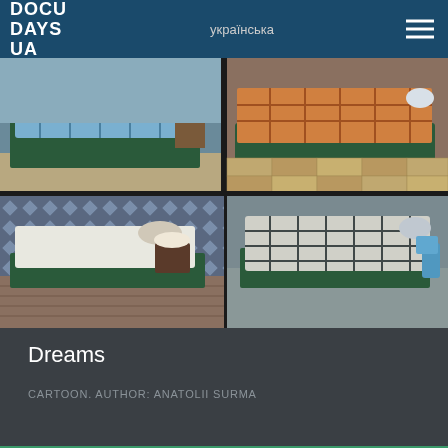DOCU DAYS UA  українська
[Figure (illustration): Four-panel 3D animated grid showing beds with different patterned covers in various room settings]
Dreams
CARTOON. AUTHOR: ANATOLII SURMA
[Figure (photo): Bottom partial preview of another film — green toned image]